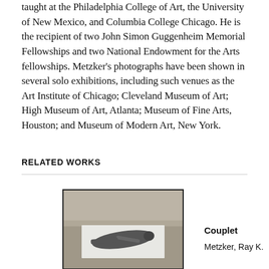taught at the Philadelphia College of Art, the University of New Mexico, and Columbia College Chicago. He is the recipient of two John Simon Guggenheim Memorial Fellowships and two National Endowment for the Arts fellowships. Metzker's photographs have been shown in several solo exhibitions, including such venues as the Art Institute of Chicago; Cleveland Museum of Art; High Museum of Art, Atlanta; Museum of Fine Arts, Houston; and Museum of Modern Art, New York.
RELATED WORKS
[Figure (photo): Black and white photograph showing a person lying on a white mat or towel on a sandy beach surface.]
Couplet
Metzker, Ray K.